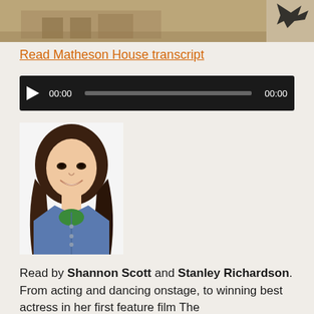[Figure (photo): Sepia-toned photograph of a historic building or house, partially visible at the top of the page, with a dark bird silhouette in the upper right corner]
Read Matheson House transcript
[Figure (other): Audio player with dark background, play button, time display showing 00:00, progress bar, and end time 00:00]
[Figure (photo): Headshot photo of a young woman with long brown wavy hair, smiling, wearing a denim jacket over a green shirt, on a white background]
Read by Shannon Scott and Stanley Richardson. From acting and dancing onstage, to winning best actress in her first feature film The